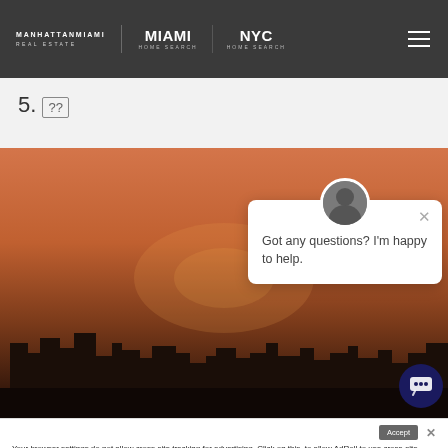MANHATTANMIAMI REAL ESTATE | MIAMI HOME SEARCH | NYC HOME SEARCH
5. [??]
[Figure (photo): Cityscape/skyline at sunset with orange-red sky and dark building silhouettes]
Got any questions? I'm happy to help.
Accept
Your browser settings do not allow cross-site tracking for advertising. Click on this to allow AdRoll to use cross-site tracking to tailor ads to you. Learn more or opt out of this A...ng by clicking here. This message only appears once.